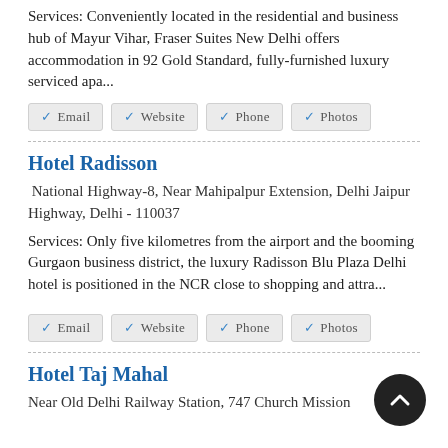Services: Conveniently located in the residential and business hub of Mayur Vihar, Fraser Suites New Delhi offers accommodation in 92 Gold Standard, fully-furnished luxury serviced apa...
✓ Email  ✓ Website  ✓ Phone  ✓ Photos
Hotel Radisson
National Highway-8, Near Mahipalpur Extension, Delhi Jaipur Highway, Delhi - 110037
Services: Only five kilometres from the airport and the booming Gurgaon business district, the luxury Radisson Blu Plaza Delhi hotel is positioned in the NCR close to shopping and attra...
✓ Email  ✓ Website  ✓ Phone  ✓ Photos
Hotel Taj Mahal
Near Old Delhi Railway Station, 747 Church Mission